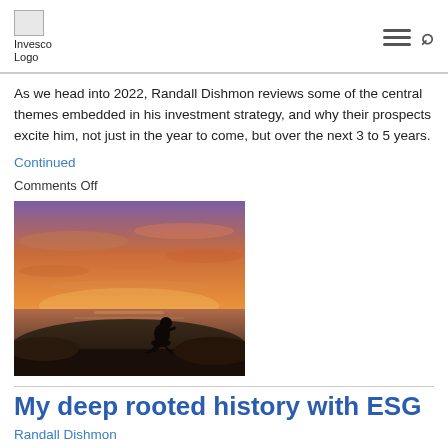Invesco Logo
As we head into 2022, Randall Dishmon reviews some of the central themes embedded in his investment strategy, and why their prospects excite him, not just in the year to come, but over the next 3 to 5 years.
Continued
Comments Off
[Figure (photo): Silhouette of a person sitting on rocks against a dramatic orange and purple sunset sky over water.]
My deep rooted history with ESG
Randall Dishmon
August 11, 2021
SUBJECT | INVESCO